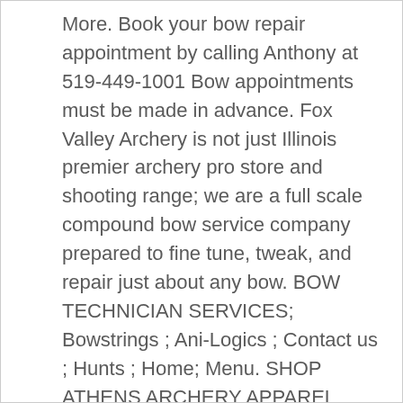More. Book your bow repair appointment by calling Anthony at 519-449-1001 Bow appointments must be made in advance. Fox Valley Archery is not just Illinois premier archery pro store and shooting range; we are a full scale compound bow service company prepared to fine tune, tweak, and repair just about any bow. BOW TECHNICIAN SERVICES; Bowstrings ; Ani-Logics ; Contact us ; Hunts ; Home; Menu. SHOP ATHENS ARCHERY APPAREL NEW FOR 2020 APPAREL SHOP NOW New styles for 2020. Our staff has over 25 years in bow repair and fine tuning services and our team is confident we can take on just about any problem and provide you with a solution. Where to Shoot. Regular store hours and open shooting will resume Tuesday, December 8. Target Bows. Last Name . See Schupbach's vast selection of crossbows. 01202-745 065 01202-749